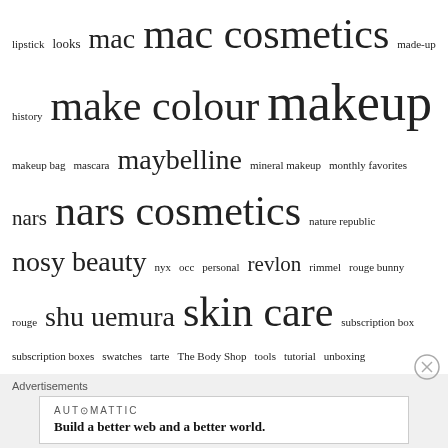lipstick looks mac mac cosmetics made-up history make colour makeup makeup bag mascara maybelline mineral makeup monthly favorites nars nars cosmetics nature republic nosy beauty nyx occ personal revlon rimmel rouge bunny rouge shu uemura skin care subscription box subscription boxes swatches tarte The Body Shop tools tutorial unboxing urban decay we see beauty what's in my bag
[Figure (logo): Creative Commons BY-NC-ND license badge]
This work is licensed under a Creative Commons Attribution-NonCommercial-NoDerivs 3.0 Unported License.
Advertisements
AUTOMATTIC
Build a better web and a better world.